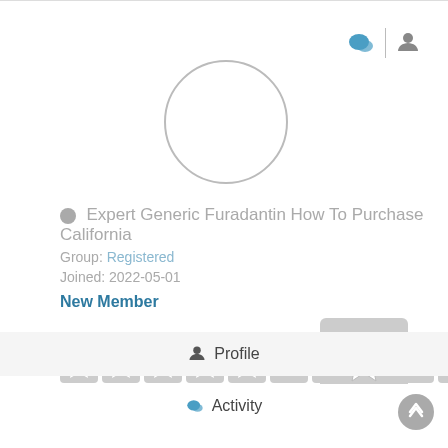[Figure (other): User profile avatar — empty circle placeholder]
Expert Generic Furadantin How To Purchase California
Group: Registered
Joined: 2022-05-01
New Member
[Figure (infographic): Row of badge/achievement icons (stars, shields, trophies) — all greyed out, plus a highlighted star badge]
Profile
Activity